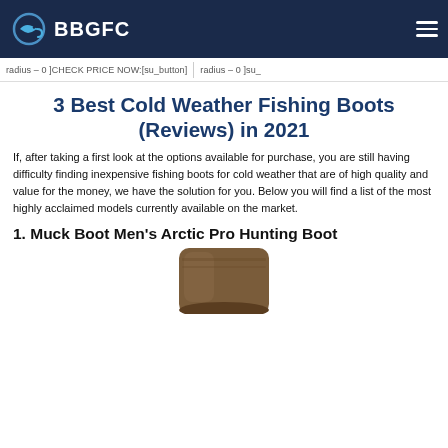BBGFC
radius – 0 ]CHECK PRICE NOW:[su_button]    radius – 0 ]su_…
3 Best Cold Weather Fishing Boots (Reviews) in 2021
If, after taking a first look at the options available for purchase, you are still having difficulty finding inexpensive fishing boots for cold weather that are of high quality and value for the money, we have the solution for you. Below you will find a list of the most highly acclaimed models currently available on the market.
1. Muck Boot Men's Arctic Pro Hunting Boot
[Figure (photo): Bottom portion of a brown Muck Boot Men's Arctic Pro Hunting Boot, showing the lower leg and heel of the boot in brown/tan color.]